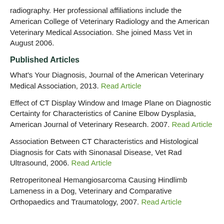radiography. Her professional affiliations include the American College of Veterinary Radiology and the American Veterinary Medical Association. She joined Mass Vet in August 2006.
Published Articles
What's Your Diagnosis, Journal of the American Veterinary Medical Association, 2013. Read Article
Effect of CT Display Window and Image Plane on Diagnostic Certainty for Characteristics of Canine Elbow Dysplasia, American Journal of Veterinary Research. 2007. Read Article
Association Between CT Characteristics and Histological Diagnosis for Cats with Sinonasal Disease, Vet Rad Ultrasound, 2006. Read Article
Retroperitoneal Hemangiosarcoma Causing Hindlimb Lameness in a Dog, Veterinary and Comparative Orthopaedics and Traumatology, 2007. Read Article